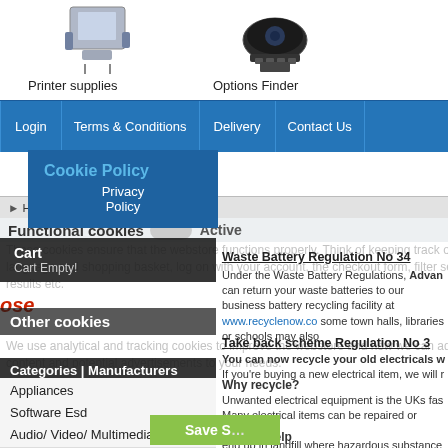[Figure (photo): Printer supplies product icon image]
Printer supplies
[Figure (photo): Options Finder product icon image]
Options Finder
Login | Terms & Conditions | Delivery | Contact Us
Cookie Policy
Privacy Policy
Home | Recycling
Functional cookies | Active
These cookies ensure that the webstore functions properly. Think of keeping track of your language and shopping basket, log on with your account, the checkout form, filter search results etc.
Cart
Cart Empty!
Other cookies
We use analytical and tracking cookies to improve the webstore and how we can adapt content and potential advertisements to your needs.
Categories | Manufacturers
Appliances
Software Esd
Audio/ Video/ Multimedia
Save Settings
Waste Battery Regulation No 34
Under the Waste Battery Regulations, Advan can return your waste batteries to our business battery recycling facility at www.recyclenow.co some town halls, libraries or schools may also
Take back scheme Regulation No 3
You can now recycle your old electricals w If you're buying a new electrical item, we will r
Why recycle?
Unwanted electrical equipment is the UKs fas Many electrical items can be repaired or recyco end up in landfill where hazardous substance
We can help